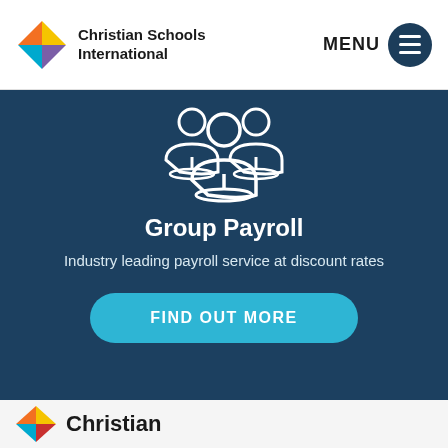Christian Schools International — MENU
[Figure (illustration): White outline icon of a group of people (three figures) on dark blue background]
Group Payroll
Industry leading payroll service at discount rates
FIND OUT MORE
Christian